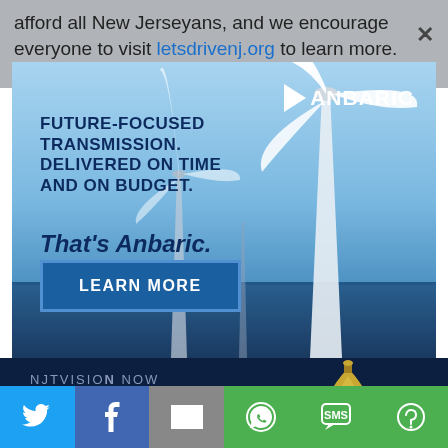afford all New Jerseyans, and we encourage everyone to visit letsdrivenj.org to learn more.
[Figure (illustration): Anbaric advertisement showing offshore wind turbines against a blue sky and sea. Text reads: FUTURE-FOCUSED TRANSMISSION. DELIVERED ON TIME AND ON BUDGET. That's Anbaric. With a LEARN MORE button and the Anbaric logo.]
[Figure (screenshot): NJ PBS website header showing logo text 'NJTVISION NOW NJ PBS' on dark navy background with gold dome building visible]
[Figure (infographic): Social media sharing bar with Twitter, Facebook, Email, WhatsApp, SMS, and More buttons]